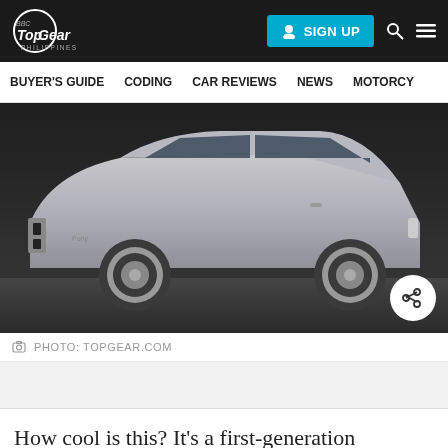Top Gear Philippines | SIGN UP
BUYER'S GUIDE  CODING  CAR REVIEWS  NEWS  MOTORCY
[Figure (photo): Silver first-generation Hyundai Pony concept car photographed in a studio, showing side profile against dark background with a share button overlay]
PHOTO: TOPGEAR.COM
How cool is this? It’s a first-generation Hyundai Pony that’s been thoroughly